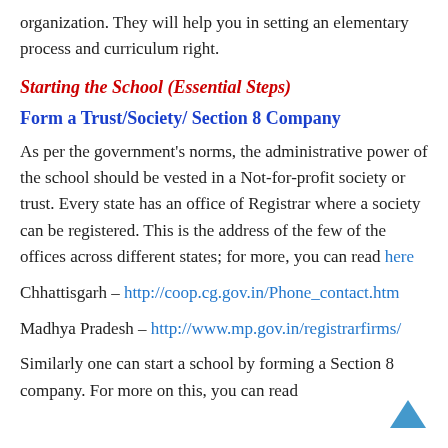organization. They will help you in setting an elementary process and curriculum right.
Starting the School (Essential Steps)
Form a Trust/Society/ Section 8 Company
As per the government’s norms, the administrative power of the school should be vested in a Not-for-profit society or trust. Every state has an office of Registrar where a society can be registered. This is the address of the few of the offices across different states; for more, you can read here
Chhattisgarh – http://coop.cg.gov.in/Phone_contact.htm
Madhya Pradesh – http://www.mp.gov.in/registrarfirms/
Similarly one can start a school by forming a Section 8 company. For more on this, you can read